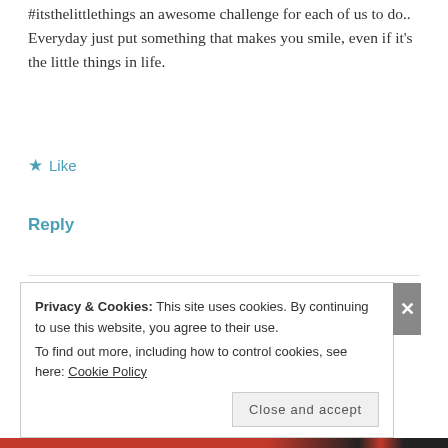#itsthelittlethings an awesome challenge for each of us to do.. Everyday just put something that makes you smile, even if it's the little things in life.
★ Like
Reply
Sweta Ojha
SEPTEMBER 7, 2016 AT 7:46 AM
[Figure (photo): Circular avatar photo of Sweta Ojha, a young woman with dark hair against a reddish-brown background]
Privacy & Cookies: This site uses cookies. By continuing to use this website, you agree to their use.
To find out more, including how to control cookies, see here: Cookie Policy
Close and accept